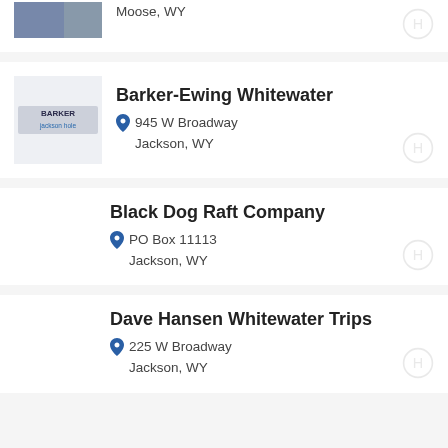Moose, WY
Barker-Ewing Whitewater
945 W Broadway
Jackson, WY
Black Dog Raft Company
PO Box 11113
Jackson, WY
Dave Hansen Whitewater Trips
225 W Broadway
Jackson, WY